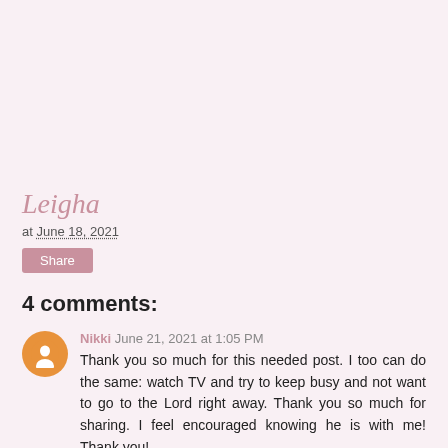Leigha
at June 18, 2021
Share
4 comments:
Nikki  June 21, 2021 at 1:05 PM
Thank you so much for this needed post. I too can do the same: watch TV and try to keep busy and not want to go to the Lord right away. Thank you so much for sharing. I feel encouraged knowing he is with me! Thank you!